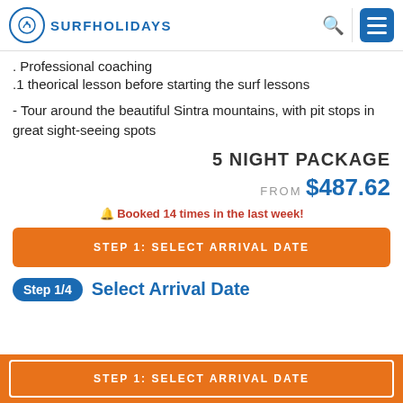SURFHOLIDAYS
. Professional coaching
.1 theorical lesson before starting the surf lessons
- Tour around the beautiful Sintra mountains, with pit stops in great sight-seeing spots
5 NIGHT PACKAGE
FROM $487.62
🔔 Booked 14 times in the last week!
STEP 1: SELECT ARRIVAL DATE
Step 1/4 Select Arrival Date
STEP 1: SELECT ARRIVAL DATE